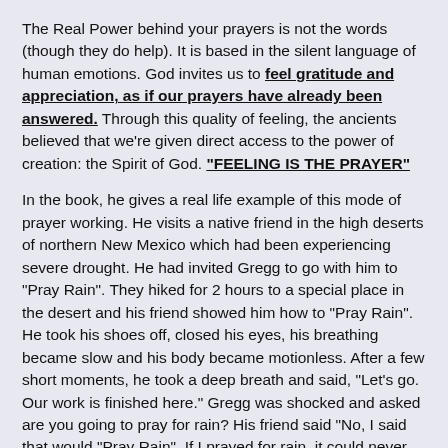The Real Power behind your prayers is not the words (though they do help).  It is based in the silent language of human emotions. God invites us to feel gratitude and appreciation, as if our prayers have already been answered.  Through this quality of feeling, the ancients believed that we're given direct access to the power of creation:  the Spirit of God.  "FEELING IS THE PRAYER"
In the book, he gives a real life example of this mode of prayer working.  He visits a native friend in the high deserts of northern New Mexico which had been experiencing severe drought.  He had invited Gregg to go with him to "Pray Rain".  They hiked for 2 hours to a special place in the desert and his friend showed him how to "Pray Rain".   He took his shoes off, closed his eyes, his breathing became slow and his body became motionless.  After a few short moments, he took a deep breath and said, "Let's go. Our work is finished here."   Gregg was shocked and asked are you going to pray for rain?  His friend said "No, I said that would "Pray Rain".  If I prayed for rain, it could never happen.  Prayers for rain empower the drought.  Continuing to ask for these things puts the feeling on the drought and